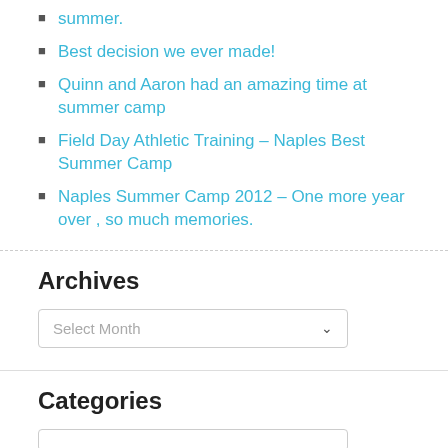summer.
Best decision we ever made!
Quinn and Aaron had an amazing time at summer camp
Field Day Athletic Training – Naples Best Summer Camp
Naples Summer Camp 2012 – One more year over , so much memories.
Archives
Select Month
Categories